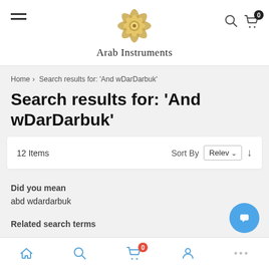[Figure (screenshot): Arab Instruments website header with hamburger menu, ornate gold logo, site name 'Arab Instruments', search icon, and cart icon with badge 0]
Home > Search results for: 'And wDarDarbuk'
Search results for: 'And wDarDarbuk'
12 Items  Sort By  Relev
Did you mean
abd wdardarbuk
Related search terms
[Figure (screenshot): Bottom navigation bar with home, search, cart (badge 0), account icons and chat bubble button]